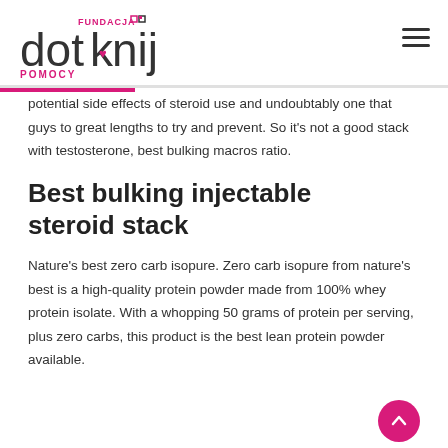Fundacja Dotknij Pomocy
potential side effects of steroid use and undoubtably one that guys to great lengths to try and prevent. So it's not a good stack with testosterone, best bulking macros ratio.
Best bulking injectable steroid stack
Nature's best zero carb isopure. Zero carb isopure from nature's best is a high-quality protein powder made from 100% whey protein isolate. With a whopping 50 grams of protein per serving, plus zero carbs, this product is the best lean protein powder available. Highlights 50 grams of 100% whey protein included